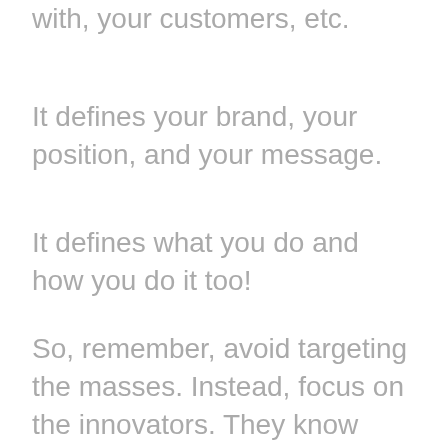with, your customers, etc.
It defines your brand, your position, and your message.
It defines what you do and how you do it too!
So, remember, avoid targeting the masses. Instead, focus on the innovators. They know they have a problem and see your